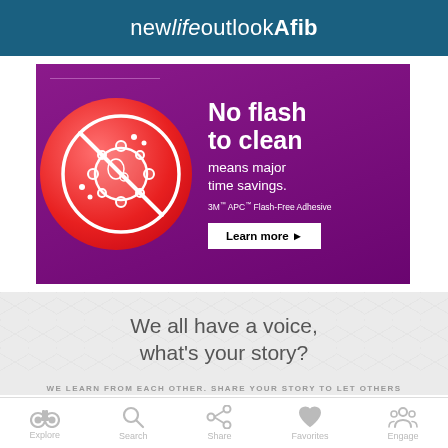new life outlook Afib
[Figure (illustration): Advertisement banner with purple background. Left side shows a red gradient circle with a white no-symbol icon over a germ/virus graphic. Right side has white text: 'No flash to clean means major time savings.' with '3M™ APC™ Flash-Free Adhesive' branding and a 'Learn more ►' button.]
We all have a voice, what's your story?
WE LEARN FROM EACH OTHER. SHARE YOUR STORY TO LET OTHERS
[Figure (infographic): Bottom navigation bar with five icons: binoculars (Explore), magnifying glass (Search), share icon (Share), heart (Favorites), group of people (Engage)]